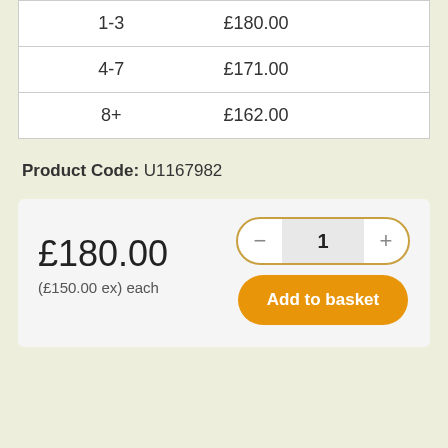| Quantity | Price |
| --- | --- |
| 1-3 | £180.00 |
| 4-7 | £171.00 |
| 8+ | £162.00 |
Product Code: U1167982
£180.00
(£150.00 ex) each
Add to basket